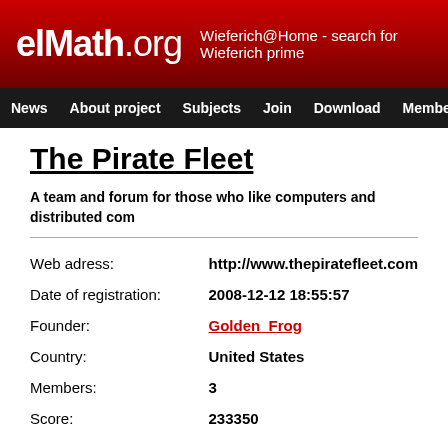elMath.org — Wieferich@Home - search for Wieferich prime
News | About project | Subjects | Join | Download | Members | Teams
The Pirate Fleet
A team and forum for those who like computers and distributed com…
| Field | Value |
| --- | --- |
| Web adress: | http://www.thepiratefleet.com |
| Date of registration: | 2008-12-12 18:55:57 |
| Founder: | Golden_Frog |
| Country: | United States |
| Members: | 3 |
| Score: | 233350 |